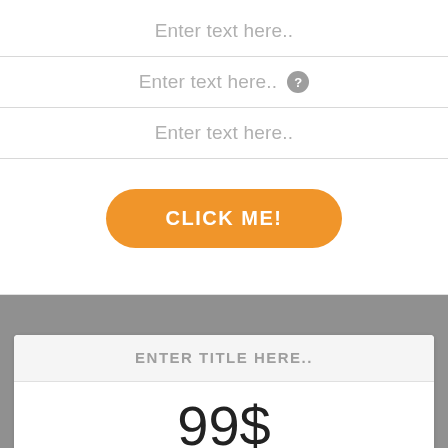Enter text here..
Enter text here..
Enter text here..
CLICK ME!
ENTER TITLE HERE..
99$